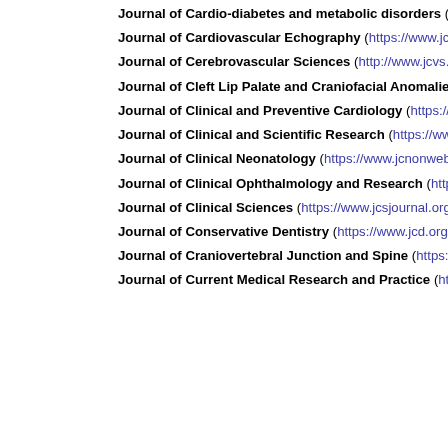Journal of Cardio-diabetes and metabolic disorders (http://www.cardiod...)
Journal of Cardiovascular Echography (https://www.jcecho.org)
Journal of Cerebrovascular Sciences (http://www.jcvs.com)
Journal of Cleft Lip Palate and Craniofacial Anomalies (https://www.jclp...)
Journal of Clinical and Preventive Cardiology (https://www.jcpconline.or...)
Journal of Clinical and Scientific Research (https://www.jcsr.co.in)
Journal of Clinical Neonatology (https://www.jcnonweb.com)
Journal of Clinical Ophthalmology and Research (https://www.jcor.in)
Journal of Clinical Sciences (https://www.jcsjournal.org)
Journal of Conservative Dentistry (https://www.jcd.org.in)
Journal of Craniovertebral Junction and Spine (https://www.jcvjs.com)
Journal of Current Medical Research and Practice (http://www.jcmrp.eg...)
This website uses cookies. By continuing to use this website you are giving consent to cookies being used. For information on cookies and how you can disable them visit our Privacy and Cookie Policy.
AGREE & PROCEED
Journal of Diabetology (https://www.journalofdiabetology.org)